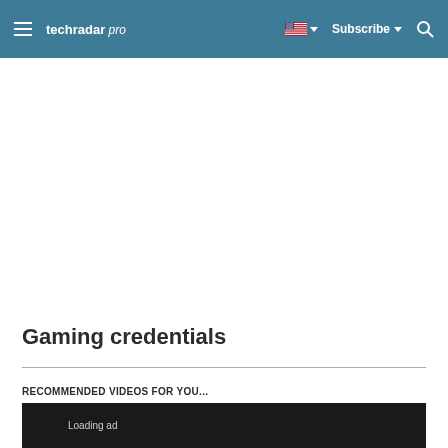techradar pro | Subscribe
Gaming credentials
RECOMMENDED VIDEOS FOR YOU...
[Figure (screenshot): Dark video loading bar with 'Loading ad' text]